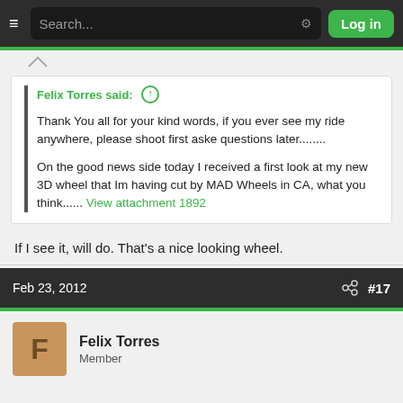Search... Log in
Felix Torres said: ↑

Thank You all for your kind words, if you ever see my ride anywhere, please shoot first aske questions later........

On the good news side today I received a first look at my new 3D wheel that Im having cut by MAD Wheels in CA, what you think...... View attachment 1892
If I see it, will do. That's a nice looking wheel.
Feb 23, 2012  #17
Felix Torres
Member